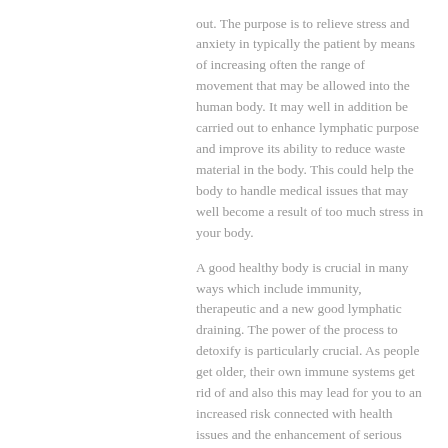out. The purpose is to relieve stress and anxiety in typically the patient by means of increasing often the range of movement that may be allowed into the human body. It may well in addition be carried out to enhance lymphatic purpose and improve its ability to reduce waste material in the body. This could help the body to handle medical issues that may well become a result of too much stress in your body.
A good healthy body is crucial in many ways which include immunity, therapeutic and a new good lymphatic draining. The power of the process to detoxify is particularly crucial. As people get older, their own immune systems get rid of and also this may lead for you to an increased risk connected with health issues and the enhancement of serious